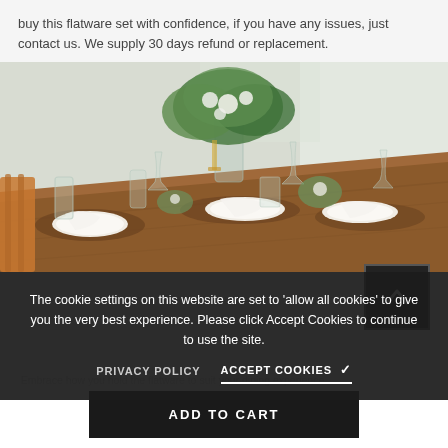buy this flatware set with confidence, if you have any issues, just contact us. We supply 30 days refund or replacement.
[Figure (photo): A beautifully set wooden dining table with plates, white folded napkins, clear glassware, and a large green and white floral centerpiece arrangement. Bright natural light in the background.]
The cookie settings on this website are set to 'allow all cookies' to give you the very best experience. Please click Accept Cookies to continue to use the site.
PRIVACY POLICY     ACCEPT COOKIES ✓
Embrace how you hold the flatware to suit your dining experience.
ADD TO CART